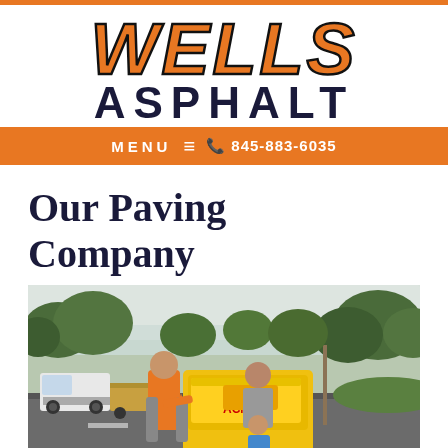WELLS ASPHALT
MENU  845-883-6035
Our Paving Company
[Figure (photo): Three people (a man in orange vest, an older man, and a child in blue shirt) posed with a yellow road roller/compactor machine on a residential street with trees, a white truck and trailer visible in background]